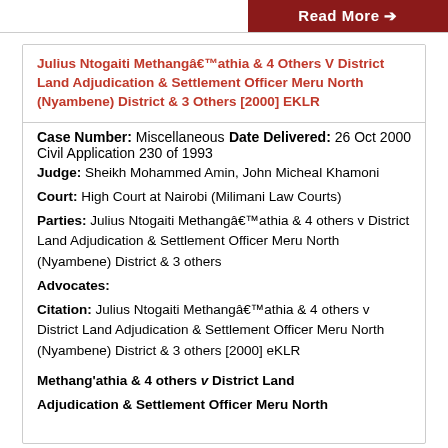Julius Ntogaiti Methangâ€™athia & 4 Others V District Land Adjudication & Settlement Officer Meru North (Nyambene) District & 3 Others [2000] EKLR
Case Number: Miscellaneous Civil Application 230 of 1993   Date Delivered: 26 Oct 2000
Judge: Sheikh Mohammed Amin, John Micheal Khamoni
Court: High Court at Nairobi (Milimani Law Courts)
Parties: Julius Ntogaiti Methangâ€™athia & 4 others v District Land Adjudication & Settlement Officer Meru North (Nyambene) District & 3 others
Advocates:
Citation: Julius Ntogaiti Methangâ€™athia & 4 others v District Land Adjudication & Settlement Officer Meru North (Nyambene) District & 3 others [2000] eKLR
Methang'athia & 4 others v District Land Adjudication & Settlement Officer Meru North